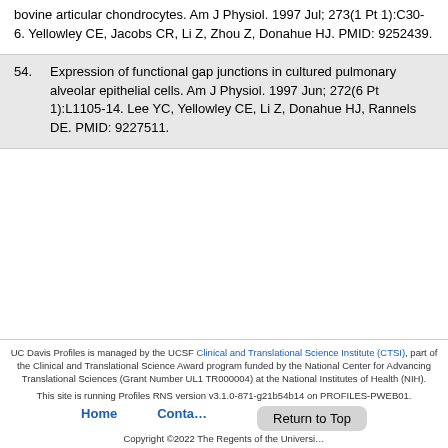bovine articular chondrocytes. Am J Physiol. 1997 Jul; 273(1 Pt 1):C30-6. Yellowley CE, Jacobs CR, Li Z, Zhou Z, Donahue HJ. PMID: 9252439.
54. Expression of functional gap junctions in cultured pulmonary alveolar epithelial cells. Am J Physiol. 1997 Jun; 272(6 Pt 1):L1105-14. Lee YC, Yellowley CE, Li Z, Donahue HJ, Rannels DE. PMID: 9227511.
UC Davis Profiles is managed by the UCSF Clinical and Translational Science Institute (CTSI), part of the Clinical and Translational Science Award program funded by the National Center for Advancing Translational Sciences (Grant Number UL1 TR000004) at the National Institutes of Health (NIH). This site is running Profiles RNS version v3.1.0-871-g21b54b14 on PROFILES-PWEB01. Home Contact Copyright ©2022 The Regents of the University